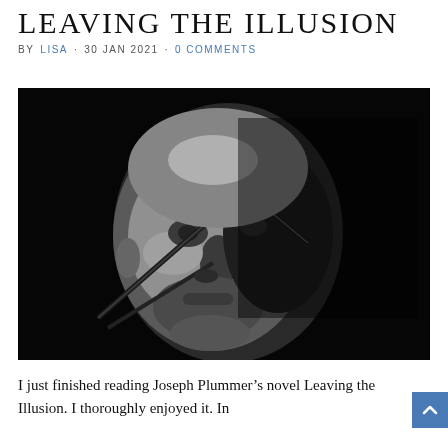LEAVING THE ILLUSION
BY LISA · 30 JAN 2021 · 0 COMMENTS
[Figure (photo): Dramatic close-up black and white photo of a bald man's face looking upward against a black background, with what appears to be clock hands or daggers crossing his face, partially illuminated with strong contrast lighting.]
I just finished reading Joseph Plummer's novel Leaving the Illusion. I thoroughly enjoyed it. In